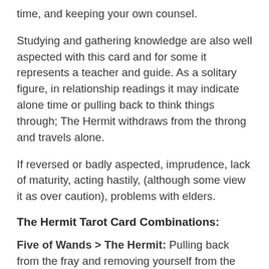time, and keeping your own counsel.
Studying and gathering knowledge are also well aspected with this card and for some it represents a teacher and guide. As a solitary figure, in relationship readings it may indicate alone time or pulling back to think things through; The Hermit withdraws from the throng and travels alone.
If reversed or badly aspected, imprudence, lack of maturity, acting hastily, (although some view it as over caution), problems with elders.
The Hermit Tarot Card Combinations:
Five of Wands > The Hermit: Pulling back from the fray and removing yourself from the equation, leaving others to their petty